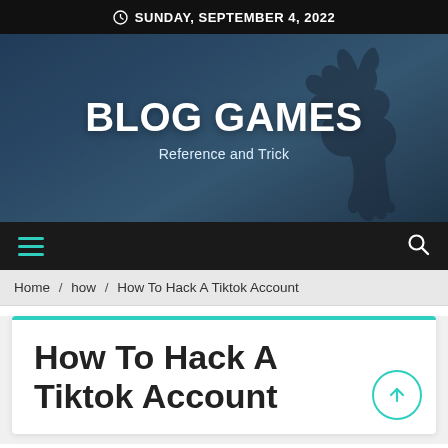SUNDAY, SEPTEMBER 4, 2022
[Figure (illustration): Blog Games website hero banner with dark blue background showing an elk silhouette, large bold white text 'BLOG GAMES' and subtitle 'Reference and Trick']
BLOG GAMES
Reference and Trick
Home / how / How To Hack A Tiktok Account
How To Hack A Tiktok Account